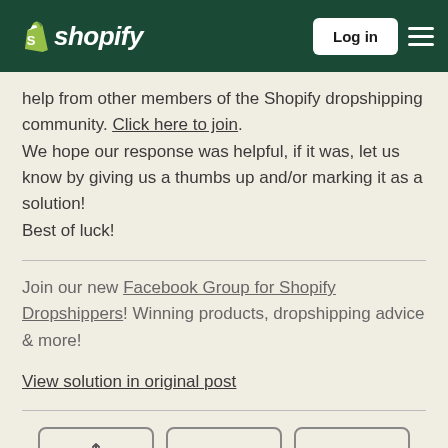[Figure (logo): Shopify logo with green shopping bag icon and white italic 'shopify' text on dark green header bar, with Log in button and hamburger menu]
help from other members of the Shopify dropshipping community. Click here to join. We hope our response was helpful, if it was, let us know by giving us a thumbs up and/or marking it as a solution! Best of luck!
Join our new Facebook Group for Shopify Dropshippers! Winning products, dropshipping advice & more!
View solution in original post